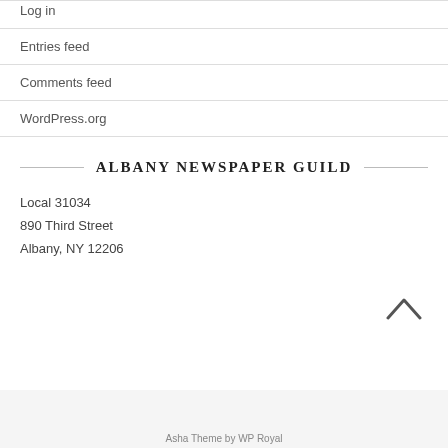Log in
Entries feed
Comments feed
WordPress.org
ALBANY NEWSPAPER GUILD
Local 31034
890 Third Street
Albany, NY 12206
Asha Theme by WP Royal